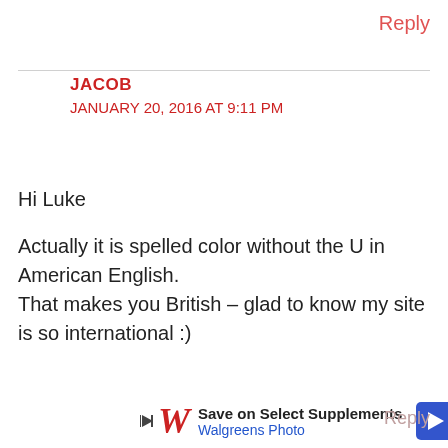Reply
JACOB
JANUARY 20, 2016 AT 9:11 PM
Hi Luke

Actually it is spelled color without the U in American English.
That makes you British – glad to know my site is so international :)
[Figure (other): Walgreens Photo advertisement banner: Save on Select Supplements, Walgreens Photo logo with cursive W, play button icon, and blue arrow navigation icon]
Reply